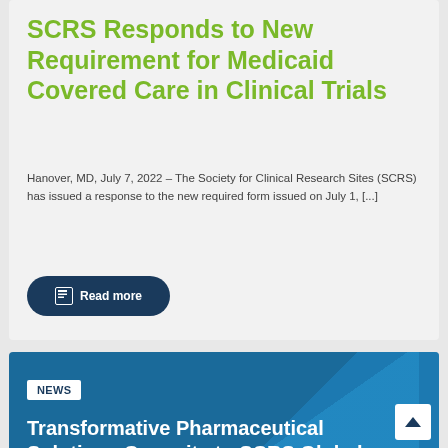SCRS Responds to New Requirement for Medicaid Covered Care in Clinical Trials
Hanover, MD, July 7, 2022 – The Society for Clinical Research Sites (SCRS) has issued a response to the new required form issued on July 1, [...]
Read more
NEWS
Transformative Pharmaceutical Solutions Commits to SCRS Global